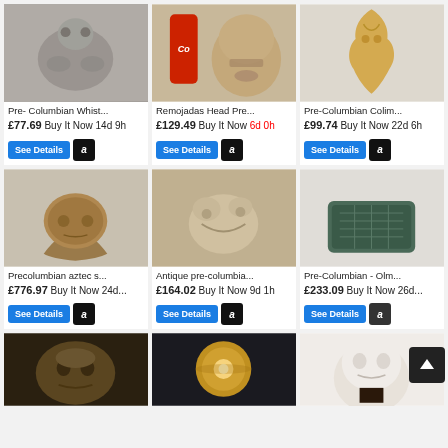[Figure (photo): Pre-Columbian whistle figurine, ceramic, gray/brown]
Pre- Columbian Whist...
£77.69 Buy It Now 14d 9h
[Figure (photo): Remojadas Head Pre-Columbian ceramic with Coca-Cola can for scale]
Remojadas Head Pre...
£129.49 Buy It Now 6d 0h
[Figure (photo): Pre-Columbian Colima gold-colored figurine]
Pre-Columbian Colim...
£99.74 Buy It Now 22d 6h
[Figure (photo): Precolumbian aztec stone cup/bowl, brown textured]
Precolumbian aztec s...
£776.97 Buy It Now 24d...
[Figure (photo): Antique pre-columbian figurine, animal/creature]
Antique pre-columbia...
£164.02 Buy It Now 9d 1h
[Figure (photo): Pre-Columbian Olmec green stone/jade rectangular block]
Pre-Columbian - Olm...
£233.09 Buy It Now 26d...
[Figure (photo): Pre-Columbian carved face mask, dark/gold]
[Figure (photo): Pre-Columbian sphere/orb with golden shine]
[Figure (photo): Pre-Columbian white stone head/mask]